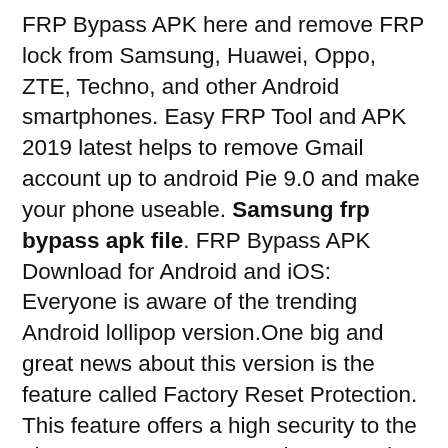FRP Bypass APK here and remove FRP lock from Samsung, Huawei, Oppo, ZTE, Techno, and other Android smartphones. Easy FRP Tool and APK 2019 latest helps to remove Gmail account up to android Pie 9.0 and make your phone useable. Samsung frp bypass apk file. FRP Bypass APK Download for Android and iOS: Everyone is aware of the trending Android lollipop version.One big and great news about this version is the feature called Factory Reset Protection. This feature offers a high security to the phone. Dec 16, 2017  Frp bypass Apk Download latest version for Android smartphones and tablets for free. Frp bypass Download and install updates along with all version of 2017. Nov 20, 2018 Download FRP bypass tool 2017 version right now from this page you are reading. To unlock and remove the google accounts security when you stuck with an Android. So you can easily bypass the google factory reset protection in anyways. Just